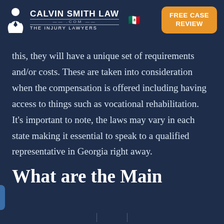CALVIN SMITH LAW .COM THE INJURY LAWYERS | FREE CASE REVIEW
this, they will have a unique set of requirements and/or costs. These are taken into consideration when the compensation is offered including having access to things such as vocational rehabilitation. It’s important to note, the laws may vary in each state making it essential to speak to a qualified representative in Georgia right away.
What are the Main